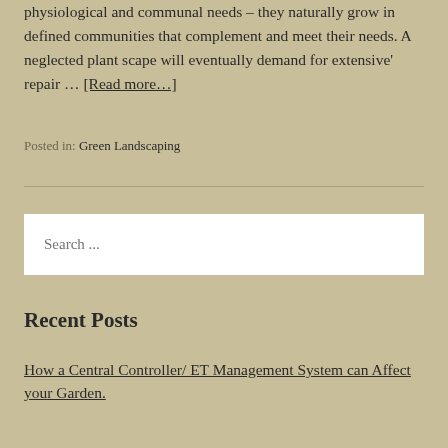physiological and communal needs – they naturally grow in defined communities that complement and meet their needs. A neglected plant scape will eventually demand for extensive' repair … [Read more…]
Posted in: Green Landscaping
Search ...
Recent Posts
How a Central Controller/ ET Management System can Affect your Garden.